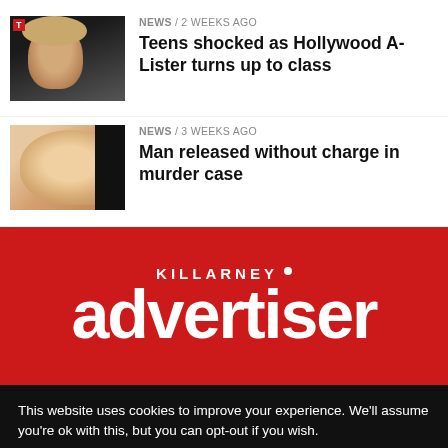[Figure (photo): Thumbnail photo of a person with light hair against dark background, with red T logo in top left corner]
NEWS / 2 weeks ago
Teens shocked as Hollywood A-Lister turns up to class
[Figure (photo): Thumbnail photo of a smiling blonde woman with a black strip on the right side]
NEWS / 3 weeks ago
Man released without charge in murder case
[Figure (logo): Killarney Advertiser logo in white text on red background]
This website uses cookies to improve your experience. We'll assume you're ok with this, but you can opt-out if you wish.
Cookie settings
ACCEPT